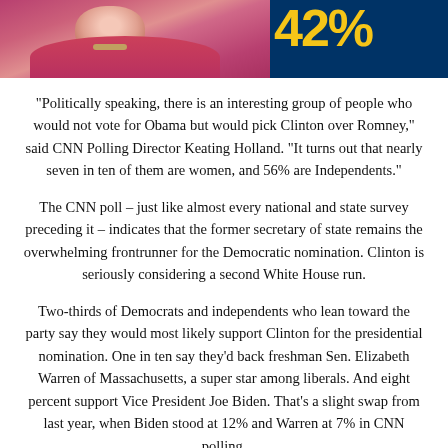[Figure (photo): Partial photo of a woman in a pink/magenta jacket on the left, and a blue background with large yellow numbers '42%' partially visible on the right.]
"Politically speaking, there is an interesting group of people who would not vote for Obama but would pick Clinton over Romney," said CNN Polling Director Keating Holland. "It turns out that nearly seven in ten of them are women, and 56% are Independents."
The CNN poll – just like almost every national and state survey preceding it – indicates that the former secretary of state remains the overwhelming frontrunner for the Democratic nomination. Clinton is seriously considering a second White House run.
Two-thirds of Democrats and independents who lean toward the party say they would most likely support Clinton for the presidential nomination. One in ten say they'd back freshman Sen. Elizabeth Warren of Massachusetts, a super star among liberals. And eight percent support Vice President Joe Biden. That's a slight swap from last year, when Biden stood at 12% and Warren at 7% in CNN polling.
Like Clinton, Biden is mulling another presidential bid, while Warren has said numerous times that she's not running in 2016.
Did you ask about Clinton?